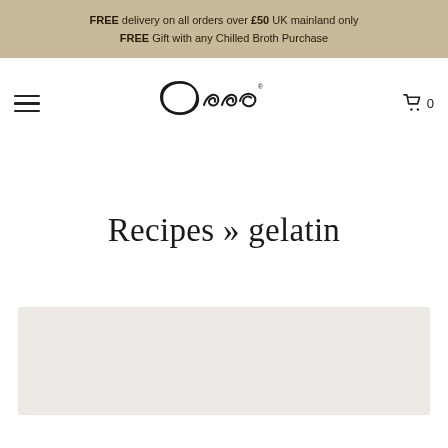FREE delivery on all orders over £50 UK mainland only
FREE Gift with any Chilled Broth Purchase
[Figure (logo): Ossa brand logo in cursive script with registered trademark symbol]
Recipes » gelatin
[Figure (photo): Light beige/grey card or image area at bottom of page]